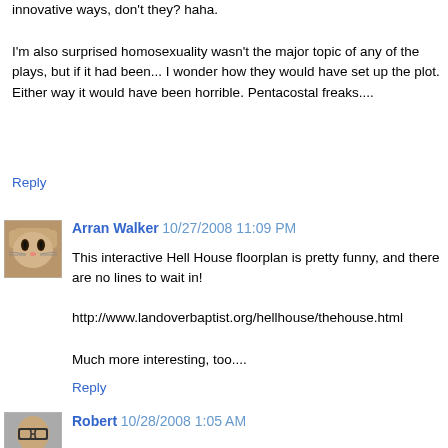innovative ways, don't they? haha.
I'm also surprised homosexuality wasn't the major topic of any of the plays, but if it had been... I wonder how they would have set up the plot. Either way it would have been horrible. Pentacostal freaks....
Reply
Arran Walker  10/27/2008 11:09 PM
This interactive Hell House floorplan is pretty funny, and there are no lines to wait in!
http://www.landoverbaptist.org/hellhouse/thehouse.html
Much more interesting, too....
Reply
Robert  10/28/2008 1:05 AM